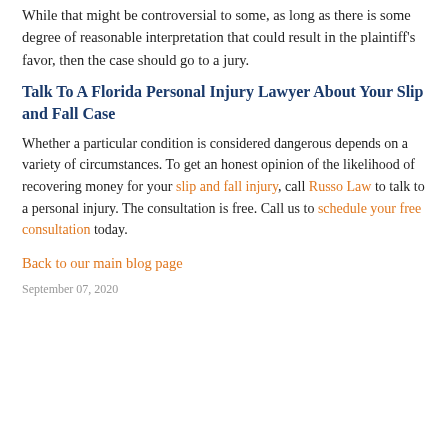While that might be controversial to some, as long as there is some degree of reasonable interpretation that could result in the plaintiff's favor, then the case should go to a jury.
Talk To A Florida Personal Injury Lawyer About Your Slip and Fall Case
Whether a particular condition is considered dangerous depends on a variety of circumstances. To get an honest opinion of the likelihood of recovering money for your slip and fall injury, call Russo Law to talk to a personal injury. The consultation is free. Call us to schedule your free consultation today.
Back to our main blog page
September 07, 2020